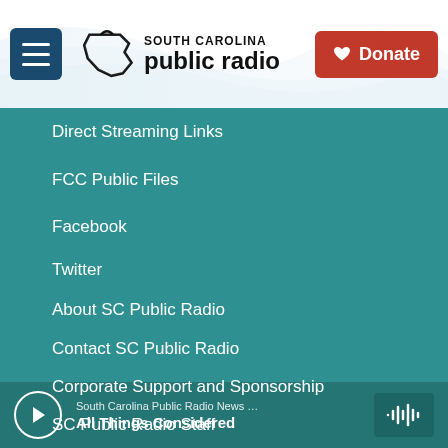South Carolina Public Radio | Donate
Direct Streaming Links
FCC Public Files
Facebook
Twitter
About SC Public Radio
Contact SC Public Radio
Corporate Support and Sponsorship
SC Public Radio Staff
South Carolina Public Radio News … | All Things Considered